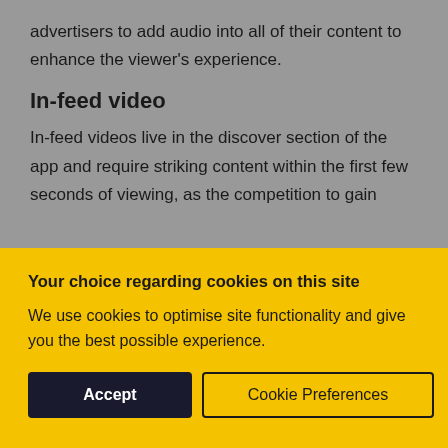advertisers to add audio into all of their content to enhance the viewer's experience.
In-feed video
In-feed videos live in the discover section of the app and require striking content within the first few seconds of viewing, as the competition to gain
Your choice regarding cookies on this site
We use cookies to optimise site functionality and give you the best possible experience.
Accept | Cookie Preferences | ×